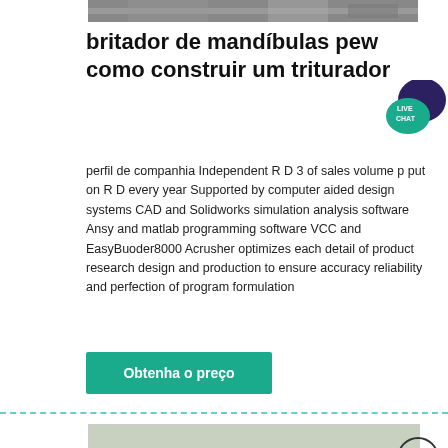[Figure (photo): Top partial photo of mining/construction site with rock and machinery, partially visible at top of page]
britador de mandíbulas pew como construir um triturador
[Figure (other): Live Chat speech bubble icon in dark blue/teal]
perfil de companhia Independent R D 3 of sales volume p put on R D every year Supported by computer aided design systems CAD and Solidworks simulation analysis software Ansy and matlab programming software VCC and EasyBuoder8000 Acrusher optimizes each detail of product research design and production to ensure accuracy reliability and perfection of program formulation
Obtenha o preço
[Figure (photo): Photo of industrial stone crushing/mining equipment and machinery at a quarry or construction site]